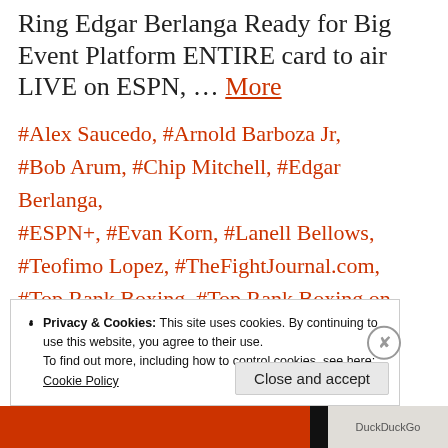Ring Edgar Berlanga Ready for Big Event Platform ENTIRE card to air LIVE on ESPN, ... More
#Alex Saucedo, #Arnold Barboza Jr, #Bob Arum, #Chip Mitchell, #Edgar Berlanga, #ESPN+, #Evan Korn, #Lanell Bellows, #Teofimo Lopez, #TheFightJournal.com, #Top Rank Boxing, #Top Rank Boxing on ESPN
Privacy & Cookies: This site uses cookies. By continuing to use this website, you agree to their use. To find out more, including how to control cookies, see here: Cookie Policy